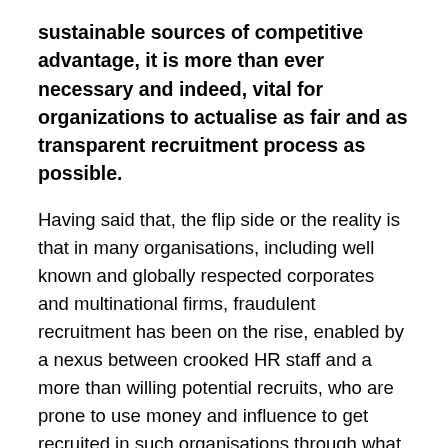sustainable sources of competitive advantage, it is more than ever necessary and indeed, vital for organizations to actualise as fair and as transparent recruitment process as possible.
Having said that, the flip side or the reality is that in many organisations, including well known and globally respected corporates and multinational firms, fraudulent recruitment has been on the rise, enabled by a nexus between crooked HR staff and a more than willing potential recruits, who are prone to use money and influence to get recruited in such organisations through what are euphemistically known as Back Door Entry methods.
Therefore, it is imperative that organisations strive to reduce or at least minimise such instances to ensure that merit and competencies of the candidates are not being overlooked in favour of less deserving or plain and